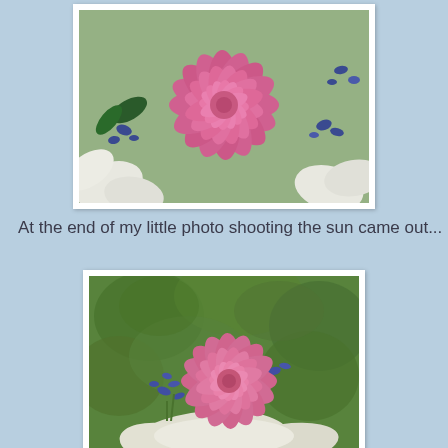[Figure (photo): Close-up photograph of a large pink dahlia flower surrounded by white flowers and small blue flowers, viewed from above on a light background.]
At the end of my little photo shooting the sun came out...
[Figure (photo): Photograph of a pink dahlia and small blue flowers arranged in a white shell or bowl, set against a backdrop of green leafy plants in sunlight.]